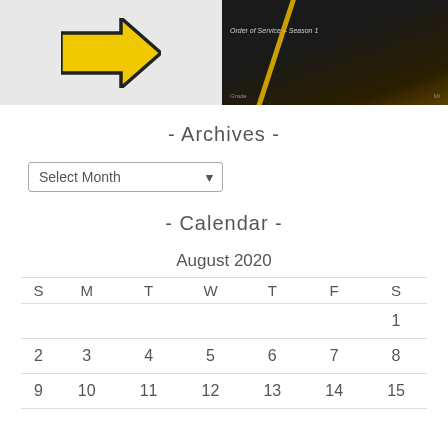[Figure (screenshot): Two side-by-side thumbnail images: left shows a white background with a yellow right-pointing arrow; right shows a dark church interior with a diagonal yellow line and text overlay 'Order of Service - Season 1']
- Archives -
Select Month (dropdown)
- Calendar -
| S | M | T | W | T | F | S |
| --- | --- | --- | --- | --- | --- | --- |
|  |  |  |  |  |  | 1 |
| 2 | 3 | 4 | 5 | 6 | 7 | 8 |
| 9 | 10 | 11 | 12 | 13 | 14 | 15 |